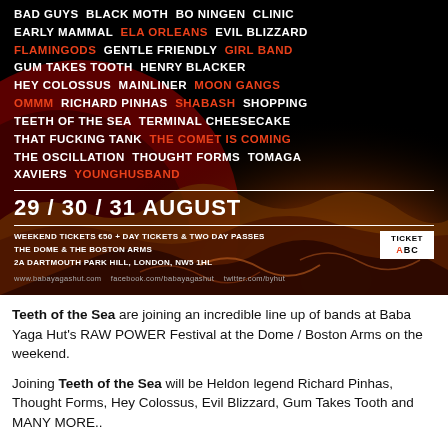[Figure (infographic): Black background festival poster for Baba Yaga Hut's RAW POWER Festival listing band names in white and red/orange text, with date 29/30/31 August, venue info, ticket price, and a swirling lava/fire decorative graphic in the lower portion.]
Teeth of the Sea are joining an incredible line up of bands at Baba Yaga Hut's RAW POWER Festival at the Dome / Boston Arms on the weekend.
Joining Teeth of the Sea will be Heldon legend Richard Pinhas, Thought Forms, Hey Colossus, Evil Blizzard, Gum Takes Tooth and MANY MORE..